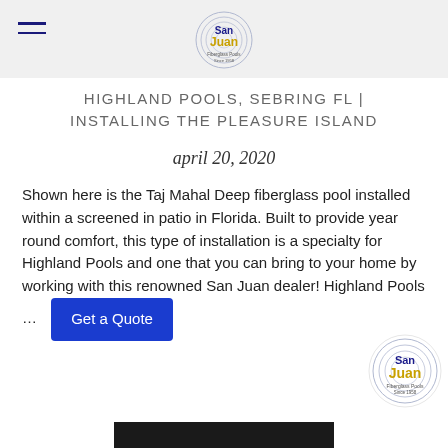San Juan Fiberglass Pools Since 1958 [logo header]
HIGHLAND POOLS, SEBRING FL | INSTALLING THE PLEASURE ISLAND
april 20, 2020
Shown here is the Taj Mahal Deep fiberglass pool installed within a screened in patio in Florida. Built to provide year round comfort, this type of installation is a specialty for Highland Pools and one that you can bring to your home by working with this renowned San Juan dealer! Highland Pools …